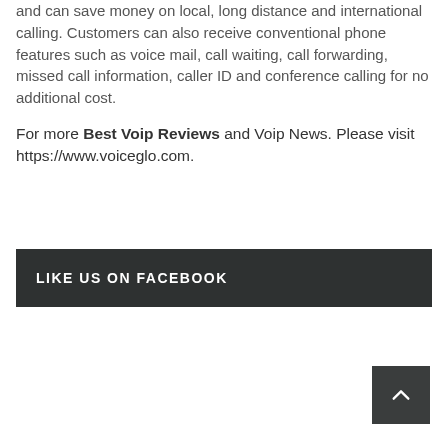and can save money on local, long distance and international calling. Customers can also receive conventional phone features such as voice mail, call waiting, call forwarding, missed call information, caller ID and conference calling for no additional cost.
For more Best Voip Reviews and Voip News. Please visit https://www.voiceglo.com.
LIKE US ON FACEBOOK